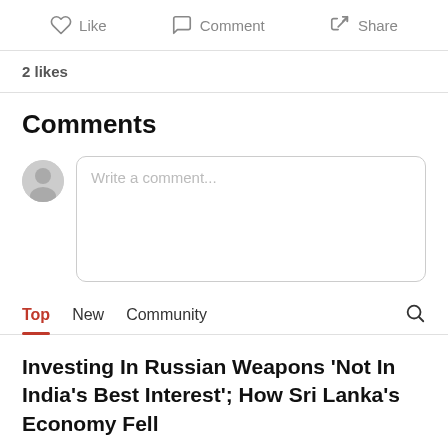Like   Comment   Share
2 likes
Comments
Write a comment...
Top   New   Community
Investing In Russian Weapons ‘Not In India’s Best Interest’; How Sri Lanka’s Economy Fell